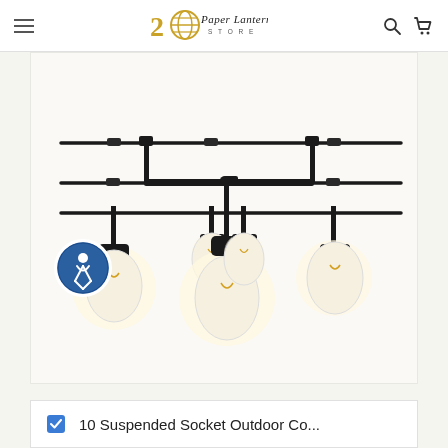20 Paper Lantern Store
[Figure (photo): Outdoor string lights with suspended Edison-style bulbs hanging from black wire strands on a white background. Five glowing bulbs are visible in two rows.]
10 Suspended Socket Outdoor Co...